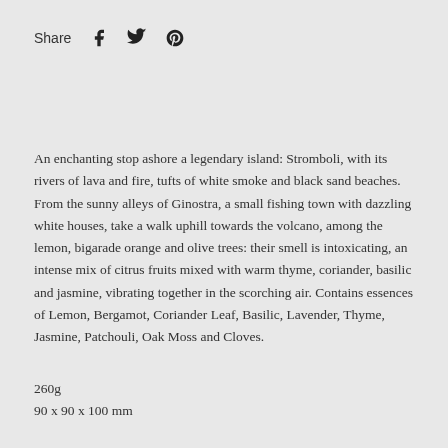Share
An enchanting stop ashore a legendary island: Stromboli, with its rivers of lava and fire, tufts of white smoke and black sand beaches. From the sunny alleys of Ginostra, a small fishing town with dazzling white houses, take a walk uphill towards the volcano, among the lemon, bigarade orange and olive trees: their smell is intoxicating, an intense mix of citrus fruits mixed with warm thyme, coriander, basilic and jasmine, vibrating together in the scorching air. Contains essences of Lemon, Bergamot, Coriander Leaf, Basilic, Lavender, Thyme, Jasmine, Patchouli, Oak Moss and Cloves.
260g
90 x 90 x 100 mm